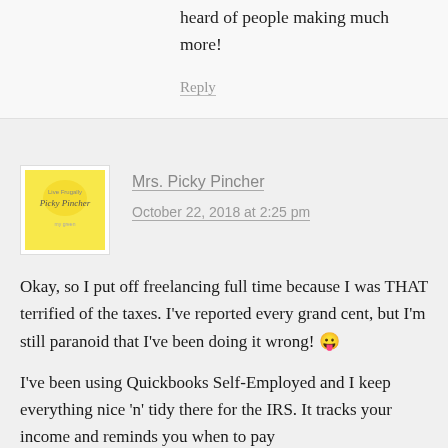heard of people making much more!
Reply
Mrs. Picky Pincher
October 22, 2018 at 2:25 pm
Okay, so I put off freelancing full time because I was THAT terrified of the taxes. I've reported every grand cent, but I'm still paranoid that I've been doing it wrong! 😛
I've been using Quickbooks Self-Employed and I keep everything nice 'n' tidy there for the IRS. It tracks your income and reminds you when to pay